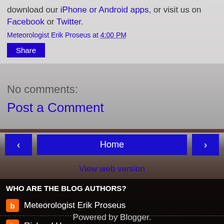download our iPhone or Android apps, or visit us on Facebook or Twitter.
Meteorologist Erik Proseus at 4:00 PM
Share
No comments:
Post a Comment
‹ Home ›
View web version
WHO ARE THE BLOG AUTHORS?
Meteorologist Erik Proseus
Richard Hoseney
Powered by Blogger.